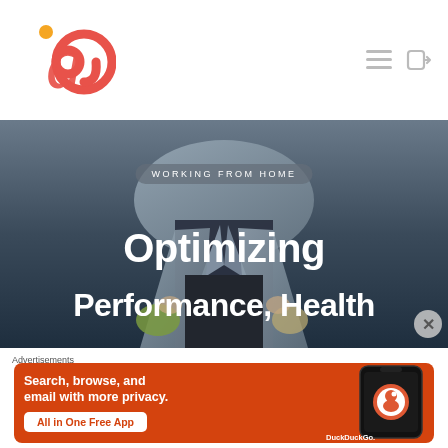[Figure (logo): Red @ symbol logo with orange dot, website logo]
[Figure (illustration): Navigation icons: hamburger menu and login arrow icon]
[Figure (photo): Hero image of a person (torso and legs) in a blazer holding items, with dark overlaid background. Category badge reads WORKING FROM HOME. Title overlay: Optimizing Performance, Health. Close X button at bottom right.]
Advertisements
[Figure (infographic): DuckDuckGo advertisement banner on orange background. Text: Search, browse, and email with more privacy. All in One Free App. DuckDuckGo logo and phone mockup on right.]